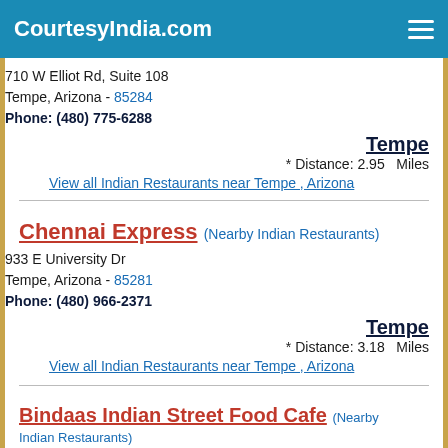CourtesyIndia.com
710 W Elliot Rd, Suite 108
Tempe, Arizona - 85284
Phone: (480) 775-6288
Tempe
* Distance: 2.95   Miles
View all Indian Restaurants near Tempe , Arizona
Chennai Express (Nearby Indian Restaurants)
933 E University Dr
Tempe, Arizona - 85281
Phone: (480) 966-2371
Tempe
* Distance: 3.18   Miles
View all Indian Restaurants near Tempe , Arizona
Bindaas Indian Street Food Cafe (Nearby Indian Restaurants)